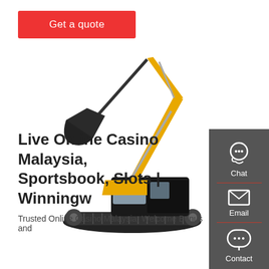Get a quote
[Figure (photo): Yellow excavator/tracked digger on white background]
[Figure (infographic): Dark sidebar with Chat, Email, and Contact icons]
Live Online Casino Malaysia, Sportsbook, Slots | Winningw
Trusted Online Casino Malaysia. Welcome Bonus and